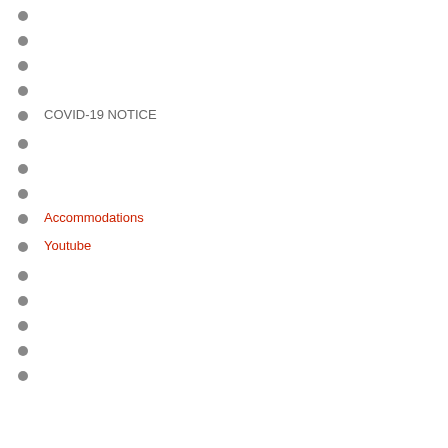COVID-19 NOTICE
Accommodations
Youtube